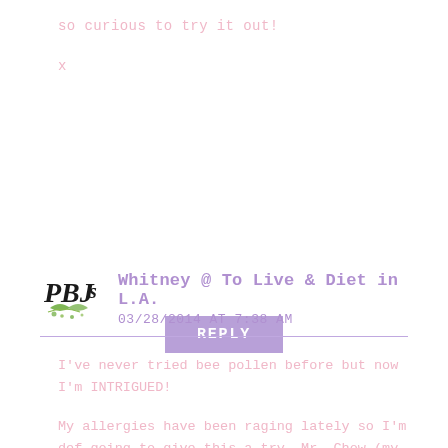so curious to try it out!
x
REPLY
Whitney @ To Live & Diet in L.A.
03/28/2014 AT 7:38 AM
I've never tried bee pollen before but now I'm INTRIGUED!
My allergies have been raging lately so I'm def going to give this a try. Mr. Chow (my dog) has been having some issues too. Do you know if it's pet friendly?